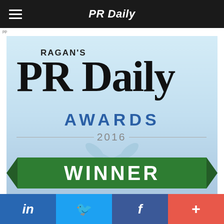PR Daily
[Figure (logo): Ragan's PR Daily Awards 2016 Winner badge for Website Launch, with blue gradient background, large black PR Daily text, blue AWARDS text, 2016 with decorative crossed oars, and green ribbon WINNER banner]
Website Launch
in  f  +